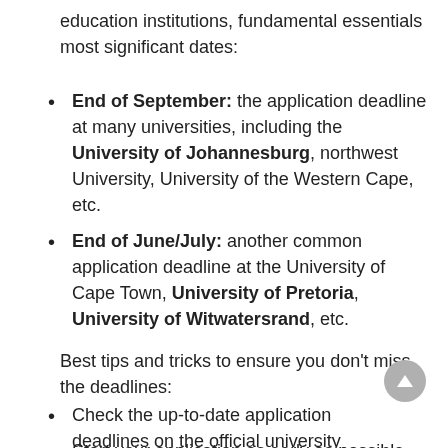education institutions, fundamental essentials most significant dates:
End of September: the application deadline at many universities, including the University of Johannesburg, northwest University, University of the Western Cape, etc.
End of June/July: another common application deadline at the University of Cape Town, University of Pretoria, University of Witwatersrand, etc.
Best tips and tricks to ensure you don't miss the deadlines:
Check the up-to-date application deadlines on the official university page
Start your application as early as possible